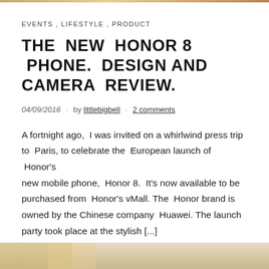EVENTS , LIFESTYLE , PRODUCT
THE NEW HONOR 8 PHONE. DESIGN AND CAMERA REVIEW.
04/09/2016 · by littlebigbell · 2 comments
A fortnight ago, I was invited on a whirlwind press trip to Paris, to celebrate the European launch of Honor's new mobile phone, Honor 8. It's now available to be purchased from Honor's vMall. The Honor brand is owned by the Chinese company Huawei. The launch party took place at the stylish [...]
CONTINUE READING
[Figure (photo): Bottom portion of a photo, warm golden/cream tones, partially visible at bottom of page]